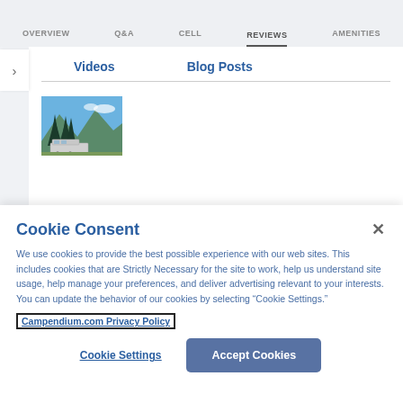OVERVIEW   Q&A   CELL   REVIEWS   AMENITIES
Videos   Blog Posts
[Figure (photo): Thumbnail image of pine trees and a camping trailer under blue sky]
Cookie Consent
We use cookies to provide the best possible experience with our web sites. This includes cookies that are Strictly Necessary for the site to work, help us understand site usage, help manage your preferences, and deliver advertising relevant to your interests. You can update the behavior of our cookies by selecting “Cookie Settings.”
Campendium.com Privacy Policy
Cookie Settings   Accept Cookies